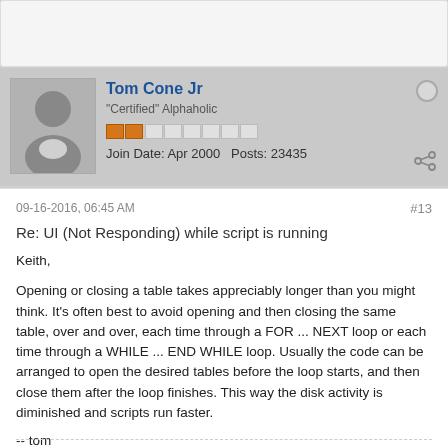Tom Cone Jr
"Certified" Alphaholic
Join Date: Apr 2000   Posts: 23435
09-16-2016, 06:45 AM
#13
Re: UI (Not Responding) while script is running
Keith,
Opening or closing a table takes appreciably longer than you might think. It's often best to avoid opening and then closing the same table, over and over, each time through a FOR ... NEXT loop or each time through a WHILE ... END WHILE loop. Usually the code can be arranged to open the desired tables before the loop starts, and then close them after the loop finishes. This way the disk activity is diminished and scripts run faster.
-- tom